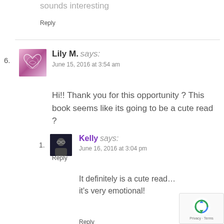sounds interesting
Reply
6. Lily M. says: June 15, 2016 at 3:54 am
Hi!! Thank you for this opportunity ? This book seems like its going to be a cute read ?
Reply
1. Kelly says: June 16, 2016 at 3:04 pm
It definitely is a cute read...it's very emotional!
Reply